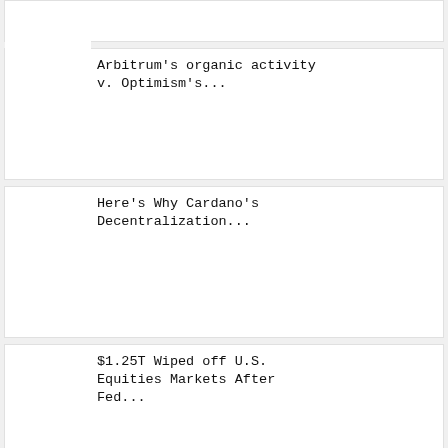Arbitrum's organic activity v. Optimism's...
Here's Why Cardano's Decentralization...
$1.25T Wiped off U.S. Equities Markets After Fed...
"Ethereum Heading...